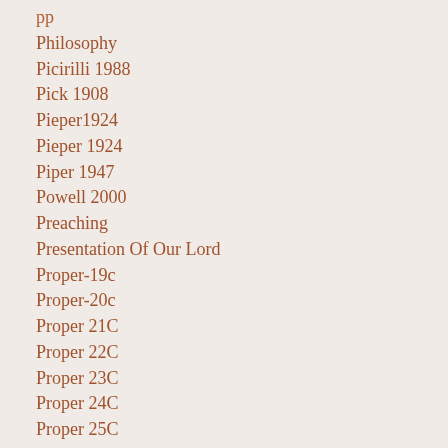Philosophy
Picirilli 1988
Pick 1908
Pieper1924
Pieper 1924
Piper 1947
Powell 2000
Preaching
Presentation Of Our Lord
Proper-19c
Proper-20c
Proper 21C
Proper 22C
Proper 23C
Proper 24C
Proper 25C
Proper 26C
Proper 27C
Proper 28C